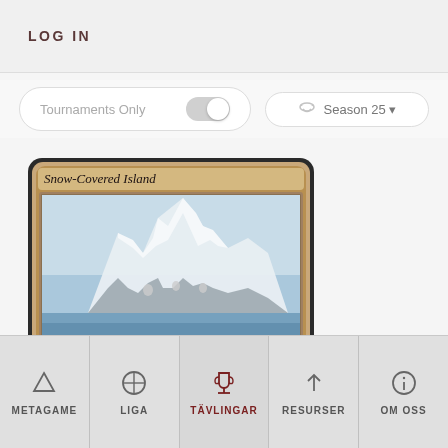LOG IN
Tournaments Only
Season 25
[Figure (illustration): Magic: The Gathering card — Snow-Covered Island. Card shows a snowy island landscape with ice formations. Card type line reads: Basic Snow Land — Island.]
METAGAME  LIGA  TÄVLINGAR  RESURSER  OM OSS